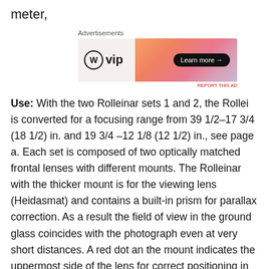meter,
[Figure (other): WordPress VIP advertisement banner with orange gradient background and 'Learn more' button]
Use: With the two Rolleinar sets 1 and 2, the Rollei is converted for a focusing range from 39 1/2–17 3/4 (18 1/2) in. and 19 3/4 –12 1/8 (12 1/2) in., see page a. Each set is composed of two optically matched frontal lenses with different mounts. The Rolleinar with the thicker mount is for the viewing lens (Heidasmat) and contains a built-in prism for parallax correction. As a result the field of view in the ground glass coincides with the photograph even at very short distances. A red dot an the mount indicates the uppermost side of the lens for correct positioning in use.
The same instructions apply to the Rolleinars with bayonet